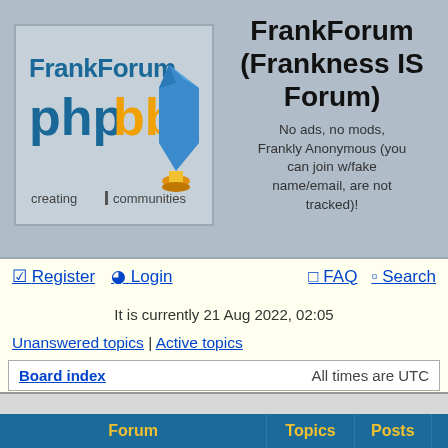[Figure (logo): FrankForum phpBB logo with blue text and phpbb mascot graphic, 'creating communities' tagline]
FrankForum (Frankness IS Forum)
No ads, no mods, Frankly Anonymous (you can join w/fake name/email, are not tracked)!
✓ Register  ◉ Login  ? FAQ  🔍 Search
It is currently 21 Aug 2022, 02:05
Unanswered topics | Active topics
Board index    All times are UTC
| Forum | Topics | Posts |
| --- | --- | --- |